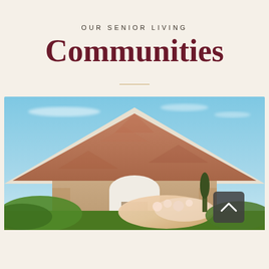OUR SENIOR LIVING
Communities
[Figure (photo): Exterior photo of a senior living community building with a brick gabled roof, white arched entryway, blue sky background, and flowering shrubs in the foreground. A scroll-up button is visible in the lower right.]